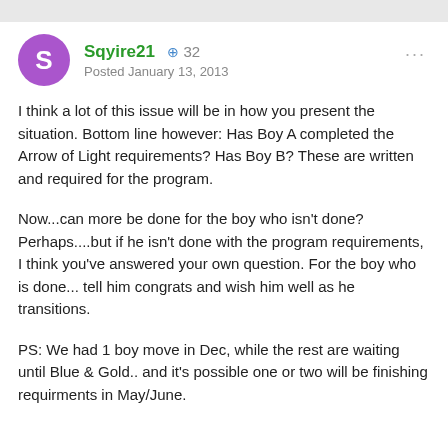Sqyire21 +32 Posted January 13, 2013
I think a lot of this issue will be in how you present the situation. Bottom line however: Has Boy A completed the Arrow of Light requirements? Has Boy B? These are written and required for the program.
Now...can more be done for the boy who isn't done? Perhaps....but if he isn't done with the program requirements, I think you've answered your own question. For the boy who is done... tell him congrats and wish him well as he transitions.
PS: We had 1 boy move in Dec, while the rest are waiting until Blue & Gold.. and it's possible one or two will be finishing requirments in May/June.